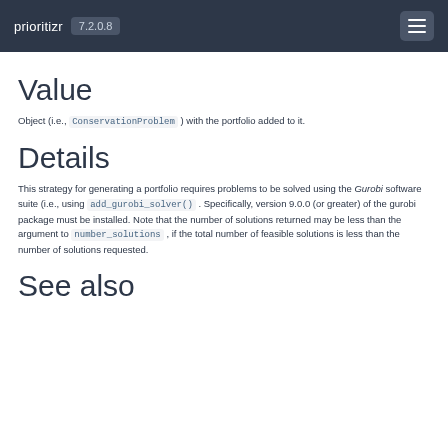prioritizr 7.2.0.8
Value
Object (i.e., ConservationProblem ) with the portfolio added to it.
Details
This strategy for generating a portfolio requires problems to be solved using the Gurobi software suite (i.e., using add_gurobi_solver() . Specifically, version 9.0.0 (or greater) of the gurobi package must be installed. Note that the number of solutions returned may be less than the argument to number_solutions , if the total number of feasible solutions is less than the number of solutions requested.
See also